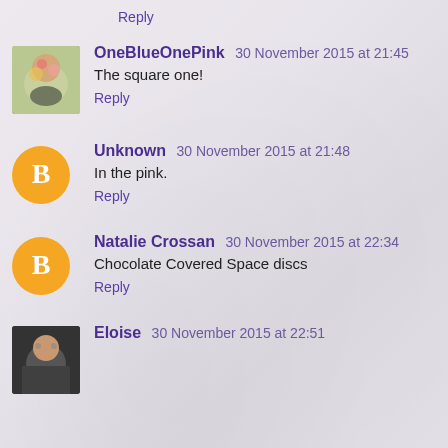Reply
OneBlueOnePink 30 November 2015 at 21:45
The square one!
Reply
Unknown 30 November 2015 at 21:48
In the pink.
Reply
Natalie Crossan 30 November 2015 at 22:34
Chocolate Covered Space discs
Reply
Eloise 30 November 2015 at 22:51